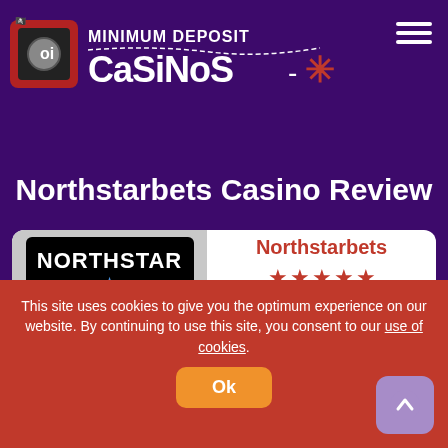[Figure (logo): Minimum Deposit Casinos logo with pirate mascot and text]
Northstarbets Casino Review
[Figure (screenshot): Northstarbets casino card with logo, 5 stars, 88% rating]
This site uses cookies to give you the optimum experience on our website. By continuing to use this site, you consent to our use of cookies.